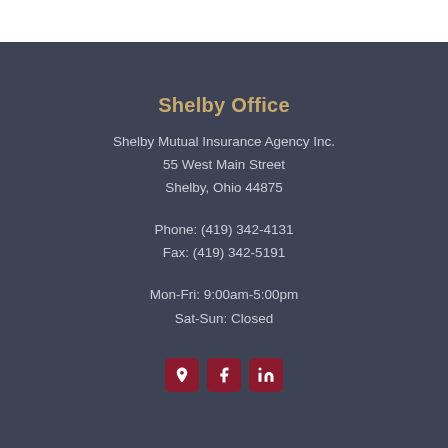Shelby Office
Shelby Mutual Insurance Agency Inc.
55 West Main Street
Shelby, Ohio 44875
Phone: (419) 342-4131
Fax: (419) 342-5191
Mon-Fri: 9:00am-5:00pm
Sat-Sun: Closed
[Figure (illustration): Three social media icon buttons (location/map pin, Facebook, LinkedIn) in dark red/maroon rounded square buttons]